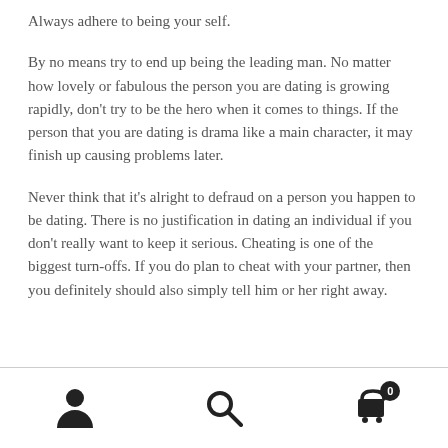Always adhere to being your self.
By no means try to end up being the leading man. No matter how lovely or fabulous the person you are dating is growing rapidly, don’t try to be the hero when it comes to things. If the person that you are dating is drama like a main character, it may finish up causing problems later.
Never think that it’s alright to defraud on a person you happen to be dating. There is no justification in dating an individual if you don’t really want to keep it serious. Cheating is one of the biggest turn-offs. If you do plan to cheat with your partner, then you definitely should also simply tell him or her right away.
Navigation bar with user icon, search icon, and cart icon with badge 0